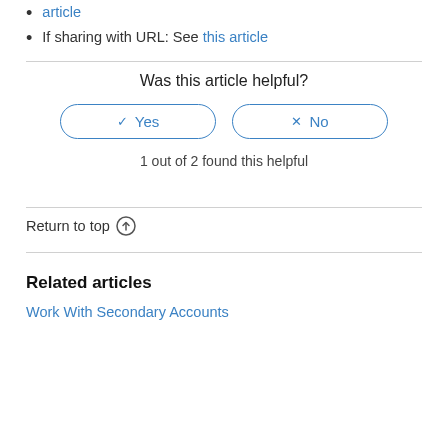article
If sharing with URL: See this article
Was this article helpful?
[Figure (other): Yes and No feedback buttons with checkmark and X icons, bordered pill-shaped buttons in blue]
1 out of 2 found this helpful
Return to top ↑
Related articles
Work With Secondary Accounts